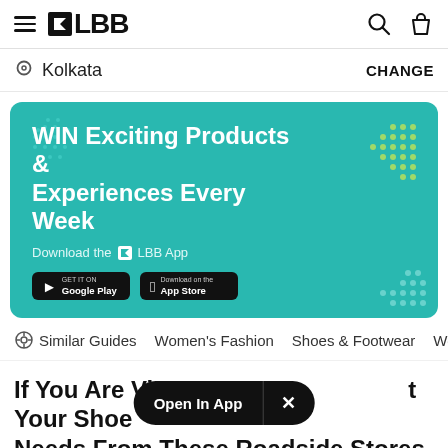LBB
Kolkata   CHANGE
[Figure (infographic): Teal promotional banner: WIN Exciting Products & Experiences Every Week. Download the LBB App. Google Play and App Store buttons.]
Similar Guides   Women's Fashion   Shoes & Footwear   Wo...
If You Are Vi... Your Shoe Needs From These Roadside Stores
By Neellohit